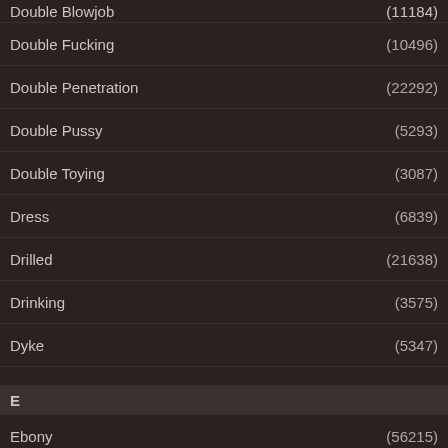Double Blowjob (11184)
Double Fucking (10496)
Double Penetration (22292)
Double Pussy (5293)
Double Toying (3087)
Dress (6839)
Drilled (21638)
Drinking (3575)
Dyke (5347)
E
Ebony (56215)
Ebony Lesbian (4654)